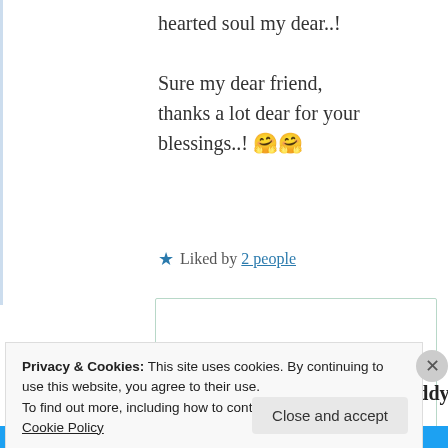hearted soul my dear..!

Sure my dear friend, thanks a lot dear for your blessings..! 🤗🤗
★ Liked by 2 people
Suma Reddy
26th Jun 2021 at
Privacy & Cookies: This site uses cookies. By continuing to use this website, you agree to their use. To find out more, including how to control cookies, see here: Cookie Policy
Close and accept